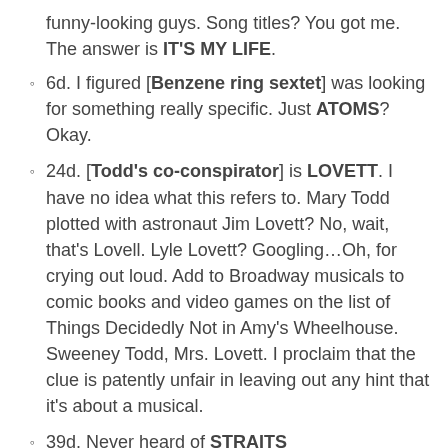funny-looking guys. Song titles? You got me. The answer is IT'S MY LIFE.
6d. I figured [Benzene ring sextet] was looking for something really specific. Just ATOMS? Okay.
24d. [Todd's co-conspirator] is LOVETT. I have no idea what this refers to. Mary Todd plotted with astronaut Jim Lovett? No, wait, that's Lovell. Lyle Lovett? Googling…Oh, for crying out loud. Add to Broadway musicals to comic books and video games on the list of Things Decidedly Not in Amy's Wheelhouse. Sweeney Todd, Mrs. Lovett. I proclaim that the clue is patently unfair in leaving out any hint that it's about a musical.
39d. Never heard of STRAITS [___ Settlements (former British crown colony)], but at least it's an English word I could piece together with some